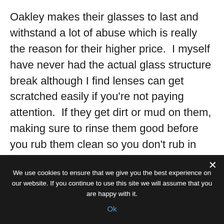Oakley makes their glasses to last and withstand a lot of abuse which is really the reason for their higher price. I myself have never had the actual glass structure break although I find lenses can get scratched easily if you’re not paying attention. If they get dirt or mud on them, making sure to rinse them good before you rub them clean so you don’t rub in the rough dirt.
These glasses are comfortable with the nose and ear pieces. No real surprise there.
We use cookies to ensure that we give you the best experience on our website. If you continue to use this site we will assume that you are happy with it.
Ok